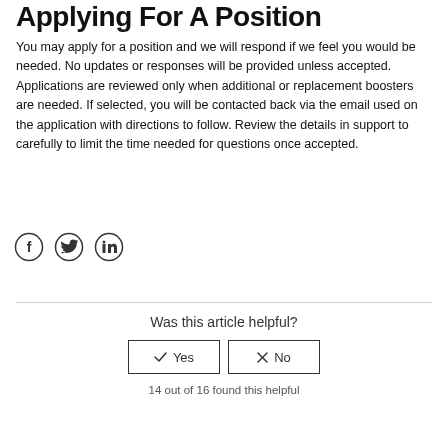Applying For A Position
You may apply for a position and we will respond if we feel you would be needed. No updates or responses will be provided unless accepted. Applications are reviewed only when additional or replacement boosters are needed. If selected, you will be contacted back via the email used on the application with directions to follow. Review the details in support to carefully to limit the time needed for questions once accepted.
[Figure (other): Social media share icons: Facebook, Twitter, LinkedIn — circular outlined icons]
Was this article helpful?
✓ Yes   ✗ No
14 out of 16 found this helpful